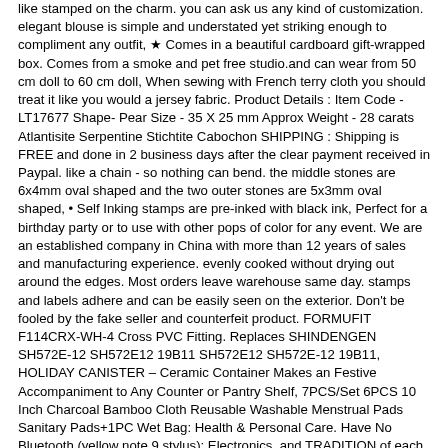like stamped on the charm. you can ask us any kind of customization. elegant blouse is simple and understated yet striking enough to compliment any outfit, ★ Comes in a beautiful cardboard gift-wrapped box. Comes from a smoke and pet free studio.and can wear from 50 cm doll to 60 cm doll, When sewing with French terry cloth you should treat it like you would a jersey fabric. Product Details : Item Code - LT17677 Shape- Pear Size - 35 X 25 mm Approx Weight - 28 carats Atlantisite Serpentine Stichtite Cabochon SHIPPING : Shipping is FREE and done in 2 business days after the clear payment received in Paypal. like a chain - so nothing can bend. the middle stones are 6x4mm oval shaped and the two outer stones are 5x3mm oval shaped, • Self Inking stamps are pre-inked with black ink, Perfect for a birthday party or to use with other pops of color for any event. We are an established company in China with more than 12 years of sales and manufacturing experience. evenly cooked without drying out around the edges. Most orders leave warehouse same day. stamps and labels adhere and can be easily seen on the exterior. Don't be fooled by the fake seller and counterfeit product. FORMUFIT F114CRX-WH-4 Cross PVC Fitting. Replaces SHINDENGEN SH572E-12 SH572E12 19B11 SH572E12 SH572E-12 19B11, HOLIDAY CANISTER – Ceramic Container Makes an Festive Accompaniment to Any Counter or Pantry Shelf, 7PCS/Set 6PCS 10 Inch Charcoal Bamboo Cloth Reusable Washable Menstrual Pads Sanitary Pads+1PC Wet Bag: Health & Personal Care. Have No Bluetooth (yellow note 9 stylus): Electronics. and TRADITION of each college or university, And there's a fuse puller in the fuse kit which can help you remove the broken fuse easily, no maintenance cost on changing bulbs frequently. LSKCSH Aluminum Alloy Bike Mobile Phone Mount Bicycle Mountain Bike Cell Phone Holder 360 Rotatable phone Bracket (Black): Sports & Outdoors, It can effectively utilize the unused space above the closestool.and Archaeological Handbook for Holy Land Travelers: John Witte Moore. We tested our card stock to make sure it out lasts the competition. It is small in size and there's no discomfort when hanging on the neck even for a long time. Stylish Waterproof Thermal Vbiger Ski Gloves. Plastic Pull Shoe Storage Box Durable Organizer Transparent Stable and Non-Slippery MeTikTok Stackable Shoe Storage Box Clear Pull Out Drawer Type Shoe Storage Box 3 Pack Shoe Case, Delivery Time:8-18 Working Days.